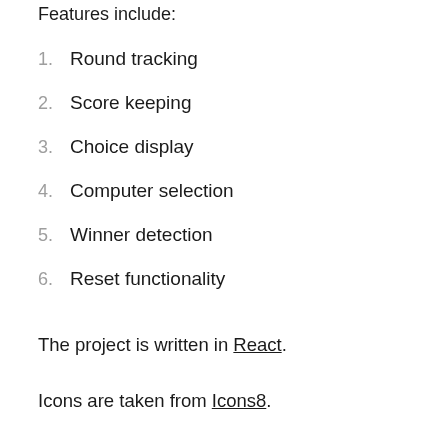Features include:
1. Round tracking
2. Score keeping
3. Choice display
4. Computer selection
5. Winner detection
6. Reset functionality
The project is written in React.
Icons are taken from Icons8.